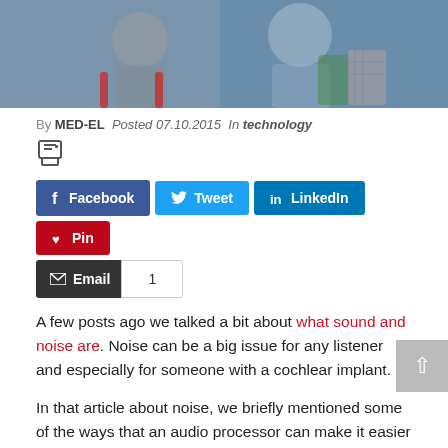[Figure (photo): Photo of children, one on a scooter, another with a backpack, outdoors]
By MED-EL  Posted 07.10.2015  In technology
[Figure (other): Print/document icon]
[Figure (infographic): Social sharing buttons: Facebook, Tweet, LinkedIn, Pin, Email with count 1]
A few posts ago we talked a bit about what sound and noise are. Noise can be a big issue for any listener and especially for someone with a cochlear implant.
In that article about noise, we briefly mentioned some of the ways that an audio processor can make it easier to hear in noisy situations. Now, we'll go into depth